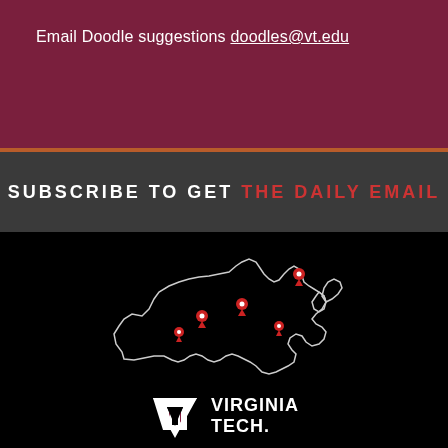Email Doodle suggestions doodles@vt.edu
SUBSCRIBE TO GET THE DAILY EMAIL
[Figure (map): Outline map of Virginia with red location pin markers indicating Virginia Tech campus locations]
[Figure (logo): Virginia Tech logo with VT monogram and text VIRGINIA TECH]
GET DIRECTIONS →